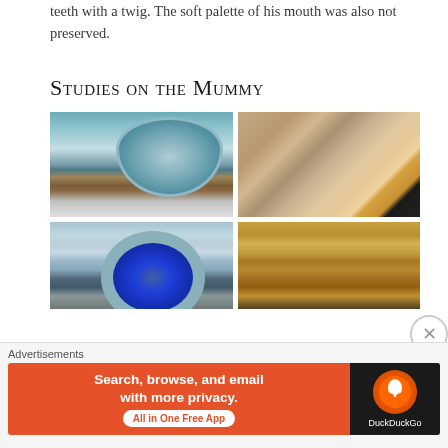teeth with a twig. The soft palette of his mouth was also not preserved.
Studies on the Mummy
[Figure (photo): Mummy being scanned in a CT scanner machine in a medical room]
[Figure (photo): A man in yellow shirt transporting a mummy on a stretcher in a storage room]
[Figure (photo): Front view of a CT scanner machine with blue interior opening]
[Figure (photo): Close-up of a golden funeral mask or gilded mummy face]
Advertisements
[Figure (screenshot): DuckDuckGo advertisement banner: Search, browse, and email with more privacy. All in One Free App]